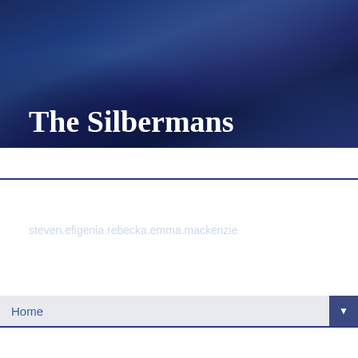The Silbermans
steven.efigenia.rebecka.emma.mackenzie
Home
FRIDAY, MARCH 11, 2016
CENTRO CRISTIANO COFRADIA - 5 YEARS!
CENTRO CRISTIANO COFRADIA ANNIVERSARY
The Christian Church in Cofradia has been alive for more than 20 years, but it wasn't until recently that they obtained a meeting place just for themselves.  It was a sweet accomplishment, led by missionary Davo Elias, who